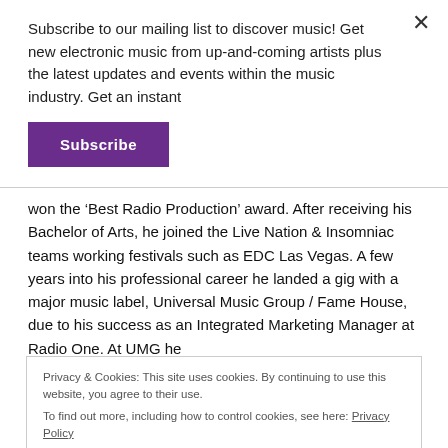Subscribe to our mailing list to discover music! Get new electronic music from up-and-coming artists plus the latest updates and events within the music industry. Get an instant
Subscribe
won the ‘Best Radio Production’ award. After receiving his Bachelor of Arts, he joined the Live Nation & Insomniac teams working festivals such as EDC Las Vegas. A few years into his professional career he landed a gig with a major music label, Universal Music Group / Fame House, due to his success as an Integrated Marketing Manager at Radio One. At UMG he
Privacy & Cookies: This site uses cookies. By continuing to use this website, you agree to their use.
To find out more, including how to control cookies, see here: Privacy Policy
Close and accept
music, to help up-and-coming artists. This music agency has a